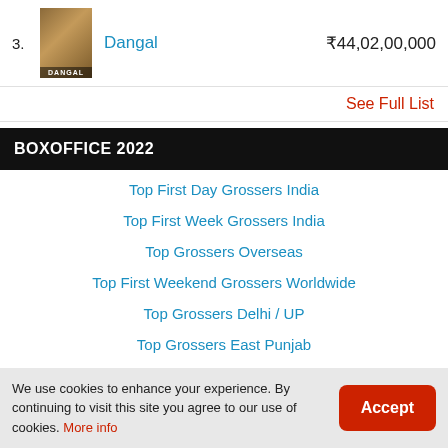3. Dangal ₹44,02,00,000
See Full List
BOXOFFICE 2022
Top First Day Grossers India
Top First Week Grossers India
Top Grossers Overseas
Top First Weekend Grossers Worldwide
Top Grossers Delhi / UP
Top Grossers East Punjab
We use cookies to enhance your experience. By continuing to visit this site you agree to our use of cookies. More info